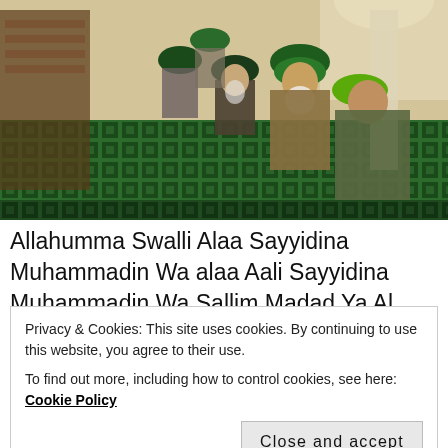[Figure (photo): Men in green turbans and traditional robes sitting in a mosque with green patterned carpet and decorative wooden minbar]
Allahumma Swalli Alaa Sayyidina Muhammadin Wa alaa Aali Sayyidina Muhammadin Wa Sallim Madad Ya Al Haqqani, Madad Ya Sahibu Saif, Madad Ya Ambiya Wa
Privacy & Cookies: This site uses cookies. By continuing to use this website, you agree to their use.
To find out more, including how to control cookies, see here: Cookie Policy
Close and accept
Bahauddin Naqshbandi Al Husaini Al Bukhari (Q.S)